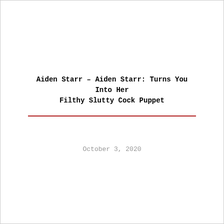Aiden Starr – Aiden Starr: Turns You Into Her Filthy Slutty Cock Puppet
October 3, 2020